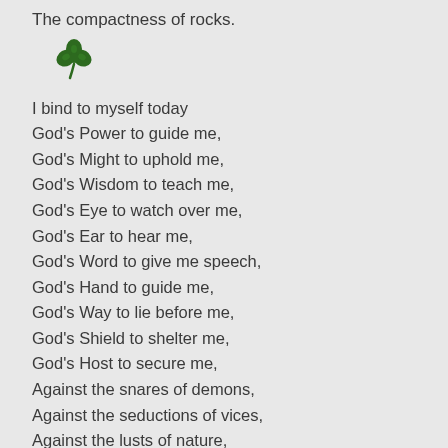The compactness of rocks.
[Figure (illustration): Green shamrock/clover decorative divider]
I bind to myself today
God's Power to guide me,
God's Might to uphold me,
God's Wisdom to teach me,
God's Eye to watch over me,
God's Ear to hear me,
God's Word to give me speech,
God's Hand to guide me,
God's Way to lie before me,
God's Shield to shelter me,
God's Host to secure me,
Against the snares of demons,
Against the seductions of vices,
Against the lusts of nature,
Against everyone who meditates injury to me,
Whether far or near,
Whether few or with many.
[Figure (illustration): Green shamrock/clover decorative divider (bottom, partially visible)]